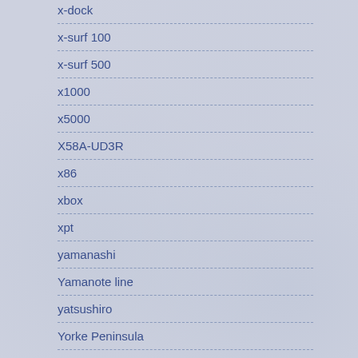x-dock
x-surf 100
x-surf 500
x1000
x5000
X58A-UD3R
x86
xbox
xpt
yamanashi
Yamanote line
yatsushiro
Yorke Peninsula
YouTube
yufuin
z-tools
zerosphere
ZG5
zip drive